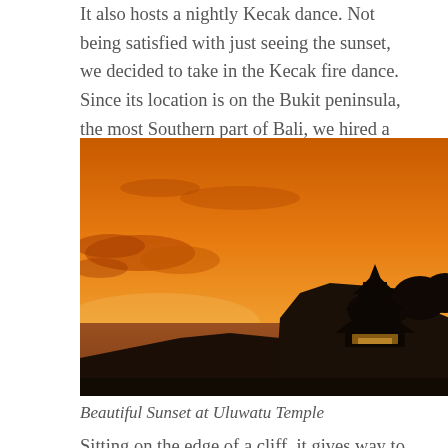It also hosts a nightly Kecak dance. Not being satisfied with just seeing the sunset, we decided to take in the Kecak fire dance. Since its location is on the Bukit peninsula, the most Southern part of Bali, we hired a driver to take us there and back.
[Figure (photo): Sunset photo of Uluwatu Temple silhouetted against a vivid orange sky, perched on a cliff edge above the ocean, with dark trees and dramatic clouds.]
Beautiful Sunset at Uluwatu Temple
Sitting on the edge of a cliff, it gives way to beautiful